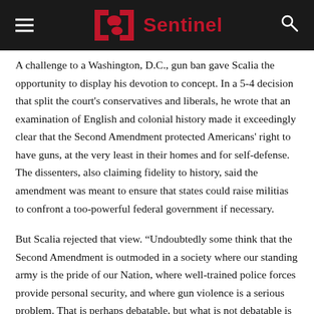Sentinel
A challenge to a Washington, D.C., gun ban gave Scalia the opportunity to display his devotion to concept. In a 5-4 decision that split the court's conservatives and liberals, he wrote that an examination of English and colonial history made it exceedingly clear that the Second Amendment protected Americans' right to have guns, at the very least in their homes and for self-defense. The dissenters, also claiming fidelity to history, said the amendment was meant to ensure that states could raise militias to confront a too-powerful federal government if necessary.
But Scalia rejected that view. “Undoubtedly some think that the Second Amendment is outmoded in a society where our standing army is the pride of our Nation, where well-trained police forces provide personal security, and where gun violence is a serious problem. That is perhaps debatable, but what is not debatable is that it is not the role of this Court to pronounce the Second Amendment